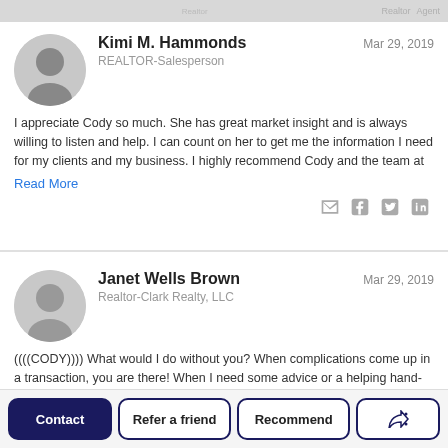Kimi M. Hammonds
REALTOR-Salesperson
Mar 29, 2019
I appreciate Cody so much. She has great market insight and is always willing to listen and help. I can count on her to get me the information I need for my clients and my business. I highly recommend Cody and the team at
Read More
Janet Wells Brown
Realtor-Clark Realty, LLC
Mar 29, 2019
((((CODY)))) What would I do without you? When complications come up in a transaction, you are there! When I need some advice or a helping hand-you are there! Accessibility is one of my big my hot buttons and
Read More
Contact
Refer a friend
Recommend